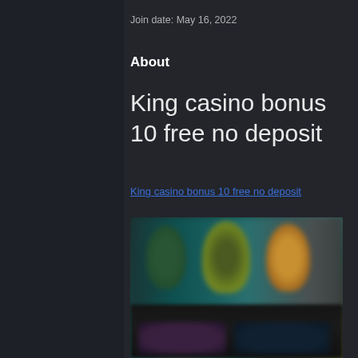Join date: May 16, 2022
About
King casino bonus 10 free no deposit
King casino bonus 10 free no deposit
[Figure (photo): Blurred casino game screenshot showing colorful characters on a dark background with bottom panels]